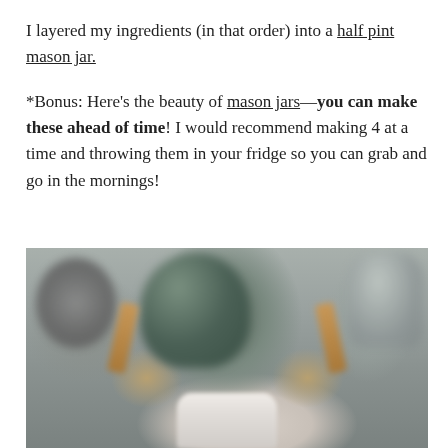I layered my ingredients (in that order) into a half pint mason jar. *Bonus: Here’s the beauty of mason jars—you can make these ahead of time! I would recommend making 4 at a time and throwing them in your fridge so you can grab and go in the mornings!
[Figure (photo): A blurry photo of kitchen items including bowls and a container on a countertop]